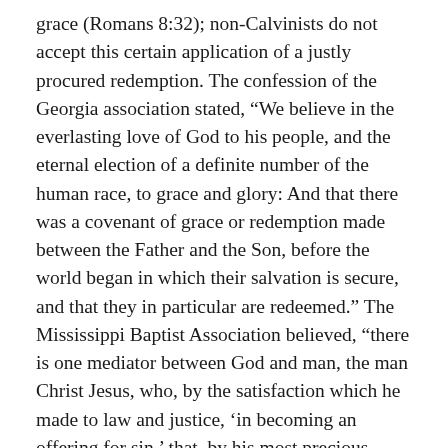grace (Romans 8:32); non-Calvinists do not accept this certain application of a justly procured redemption. The confession of the Georgia association stated, “We believe in the everlasting love of God to his people, and the eternal election of a definite number of the human race, to grace and glory: And that there was a covenant of grace or redemption made between the Father and the Son, before the world began in which their salvation is secure, and that they in particular are redeemed.” The Mississippi Baptist Association believed, “there is one mediator between God and man, the man Christ Jesus, who, by the satisfaction which he made to law and justice, ‘in becoming an offering for sin,’ that, by his most precious blood, redeemed the elect from under the curse of the law, that they might be holy and without blame before him in love.” The Charleston Association affirmed, “To all those for